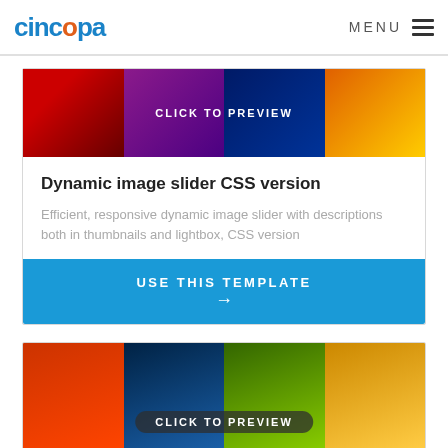cincopa  MENU
[Figure (screenshot): Image slider preview strip with colorful photo thumbnails and CLICK TO PREVIEW overlay text]
Dynamic image slider CSS version
Efficient, responsive dynamic image slider with descriptions both in thumbnails and lightbox, CSS version
USE THIS TEMPLATE →
[Figure (screenshot): Second image slider preview strip with landscape photo thumbnails and CLICK TO PREVIEW overlay button]